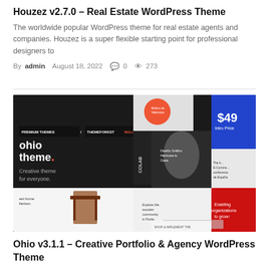Houzez v2.7.0 – Real Estate WordPress Theme
The worldwide popular WordPress theme for real estate agents and companies. Houzez is a super flexible starting point for professional designers to
By admin  August 18, 2022  💬 0  👁 273
[Figure (screenshot): Screenshot of Ohio WordPress theme promotional image showing multiple website layouts, 'PREMIUM THEMES / THEMEFOREST NULLED' label, ohio theme branding, $49 intro price, and WPLOCKER.COM watermark]
Ohio v3.1.1 – Creative Portfolio & Agency WordPress Theme